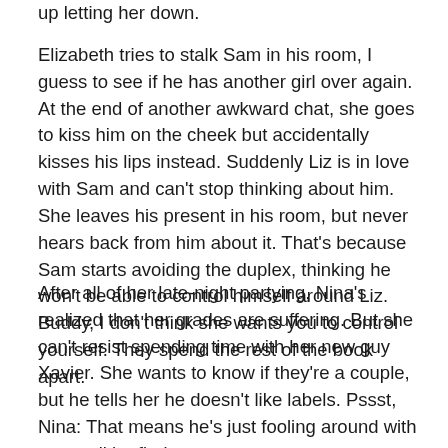up letting her down.
Elizabeth tries to stalk Sam in his room, I guess to see if he has another girl over again. At the end of another awkward chat, she goes to kiss him on the cheek but accidentally kisses his lips instead. Suddenly Liz is in love with Sam and can't stop thinking about him. She leaves his present in his room, but never hears back from him about it. That's because Sam starts avoiding the duplex, thinking he won't be able to control himself around Liz. Buddy, I don't think she wants you to control yourself. They spend the rest of the book apart.
After all of her late-night partying, Nina's realized that her grades are suffering. But she can't resist spending time with her new guy Xavier. She wants to know if they're a couple, but he tells her he doesn't like labels. Pssst, Nina: That means he's just fooling around with you until he finds